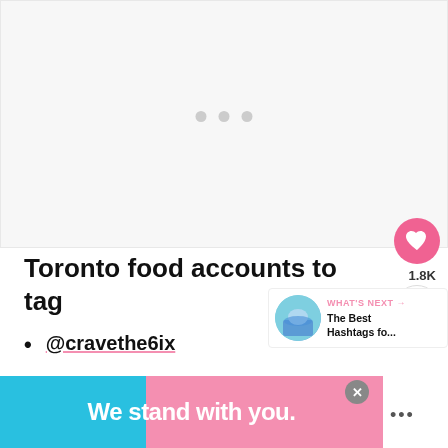[Figure (photo): Light gray placeholder image area with three gray dots in the center indicating a loading or carousel state]
Toronto food accounts to tag
@cravethe6ix
@foodpornto
[Figure (infographic): Advertisement banner reading 'We stand with you.' in white bold text on a blue and pink background with a close button and dots icon]
[Figure (other): WHAT'S NEXT panel showing thumbnail and text 'The Best Hashtags fo...']